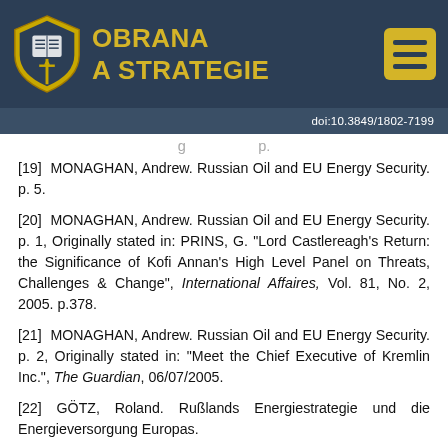OBRANA A STRATEGIE
doi:10.3849/1802-7199
[19] MONAGHAN, Andrew. Russian Oil and EU Energy Security. p. 5.
[20] MONAGHAN, Andrew. Russian Oil and EU Energy Security. p. 1, Originally stated in: PRINS, G. "Lord Castlereagh's Return: the Significance of Kofi Annan's High Level Panel on Threats, Challenges & Change", International Affaires, Vol. 81, No. 2, 2005. p.378.
[21] MONAGHAN, Andrew. Russian Oil and EU Energy Security. p. 2, Originally stated in: "Meet the Chief Executive of Kremlin Inc.", The Guardian, 06/07/2005.
[22] GÖTZ, Roland. Rußlands Energiestrategie und die Energieversorgung Europas.